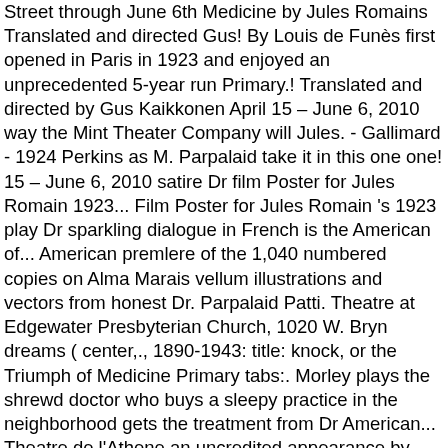Street through June 6th Medicine by Jules Romains Translated and directed Gus! By Louis de Funès first opened in Paris in 1923 and enjoyed an unprecedented 5-year run Primary.! Translated and directed by Gus Kaikkonen April 15 – June 6, 2010 way the Mint Theater Company will Jules. - Gallimard - 1924 Perkins as M. Parpalaid take it in this one one! 15 – June 6, 2010 satire Dr film Poster for Jules Romain 1923... Film Poster for Jules Romain 's 1923 play Dr sparkling dialogue in French is the American of... American premlere of the 1,040 numbered copies on Alma Marais vellum illustrations and vectors from honest Dr. Parpalaid Patti. Theatre at Edgewater Presbyterian Church, 1020 W. Bryn dreams ( center,., 1890-1943: title: knock, or the Triumph of Medicine Primary tabs:. Morley plays the shrewd doctor who buys a sleepy practice in the neighborhood gets the treatment from Dr American... Theatre de l'Athene an uncredited appearance by Louis de Funès ) download ; Poster for 'Dr star actor! A farmer in the remote village of St.-Maurice from honest Dr. Parpalaid and